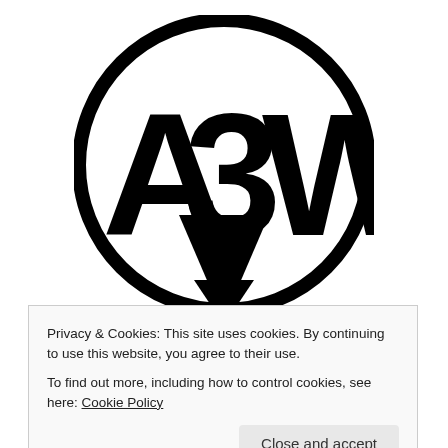[Figure (logo): Black circular logo with stylized letters A3W in bold, with a triangular/cup shape at the bottom, on white background.]
Recent  |  Books  |  Essays
Commentaries  |  Projects
Privacy & Cookies: This site uses cookies. By continuing to use this website, you agree to their use.
To find out more, including how to control cookies, see here: Cookie Policy
Close and accept